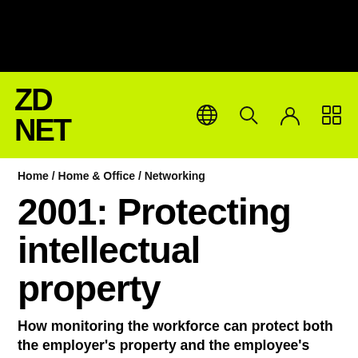[Figure (logo): ZDNet logo on lime green navigation bar with globe, search, user, and grid icons]
Home / Home & Office / Networking
2001: Protecting intellectual property
How monitoring the workforce can protect both the employer's property and the employee's livelihood
[Figure (photo): Author profile photo thumbnail (circular, partially visible)]